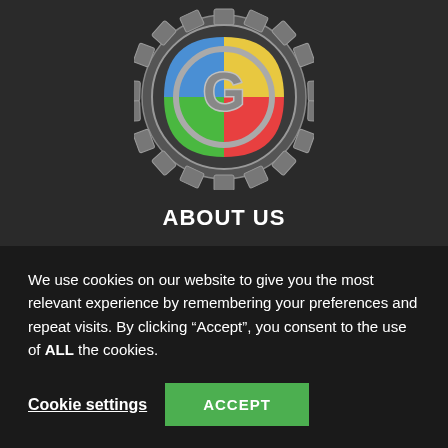[Figure (logo): Gear-shaped logo with colorful quadrants (blue, green, yellow, red) and a metallic letter G in the center, on a dark background]
ABOUT US
Your future tech news site covering medical breakthroughs, virtual reality, robotics, space travel and green technology
We use cookies on our website to give you the most relevant experience by remembering your preferences and repeat visits. By clicking “Accept”, you consent to the use of ALL the cookies.
Cookie settings
ACCEPT